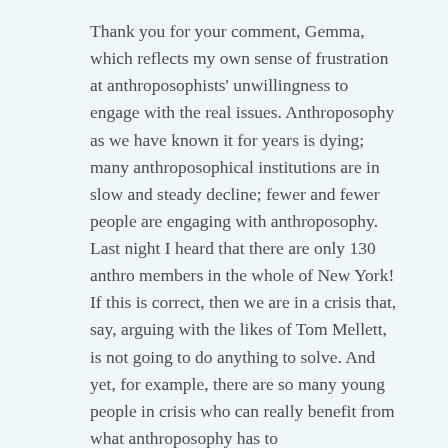Thank you for your comment, Gemma, which reflects my own sense of frustration at anthroposophists' unwillingness to engage with the real issues. Anthroposophy as we have known it for years is dying; many anthroposophical institutions are in slow and steady decline; fewer and fewer people are engaging with anthroposophy. Last night I heard that there are only 130 anthro members in the whole of New York! If this is correct, then we are in a crisis that, say, arguing with the likes of Tom Mellett, is not going to do anything to solve. And yet, for example, there are so many young people in crisis who can really benefit from what anthroposophy has to